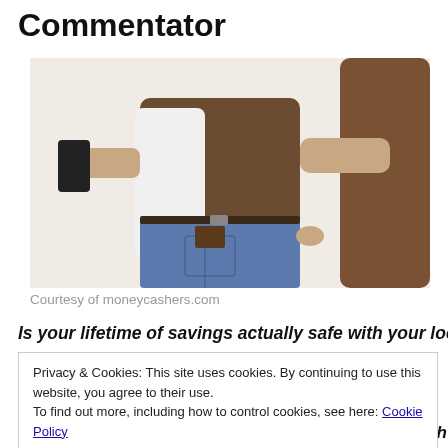Commentator
[Figure (photo): A person being pickpocketed — someone in a brown jacket is pulling a wallet from the back pocket of a person wearing jeans and a white shirt, who is holding a phone behind their back.]
Courtesy of moneycashers.com
Is your lifetime of savings actually safe with your local
Privacy & Cookies: This site uses cookies. By continuing to use this website, you agree to their use.
To find out more, including how to control cookies, see here: Cookie Policy
[Close and accept]
investments funding your retirement income through